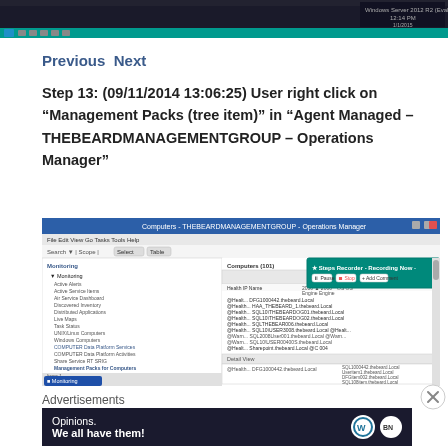[Figure (screenshot): Windows Server 2012 R2 desktop taskbar screenshot at top of page]
Previous Next
Step 13: (09/11/2014 13:06:25) User right click on “Management Packs (tree item)” in “Agent Managed – THEBEARDMANAGEMENTGROUP – Operations Manager”
[Figure (screenshot): Computers - THEBEARDMANAGEMENTGROUP - Operations Manager window screenshot showing monitoring tree with Management Packs selected and Steps Recorder overlay]
Advertisements
[Figure (illustration): Advertisement banner: Opinions. We all have them! with WordPress and another logo]